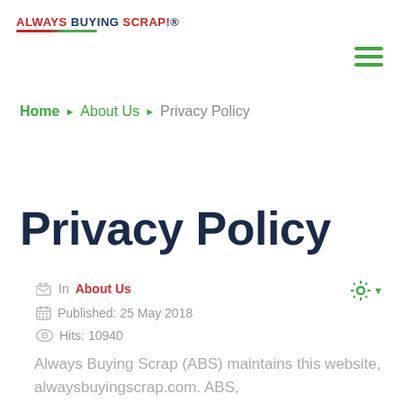ALWAYS BUYING SCRAP!®
≡ (hamburger menu)
Home ▶ About Us ▶ Privacy Policy
Privacy Policy
In About Us
Published: 25 May 2018
Hits: 10940
Always Buying Scrap (ABS) maintains this website, alwaysbuyingscrap.com. ABS,